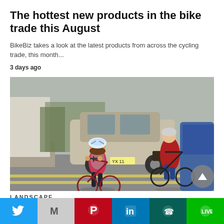The hottest new products in the bike trade this August
BikeBiz takes a look at the latest products from across the cycling trade, this month...
3 days ago
[Figure (photo): A child and an adult riding bicycles on a road, both wearing helmets. Cars are visible in the background. The child is on a small red bike in the foreground, and the adult in a red coat rides behind.]
LANDSCAPE